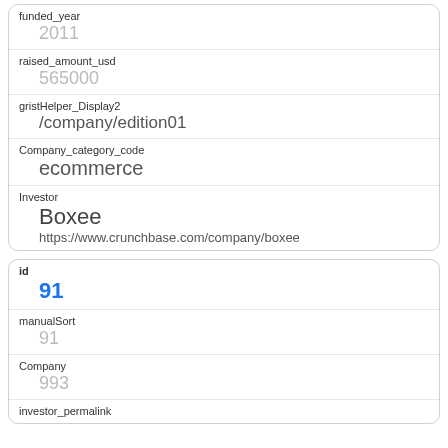| funded_year | 2011 |
| raised_amount_usd | 565000 |
| gristHelper_Display2 | /company/edition01 |
| Company_category_code | ecommerce |
| Investor | Boxee
https://www.crunchbase.com/company/boxee |
| id | 91 |
| manualSort | 91 |
| Company | 993 |
| investor_permalink |  |